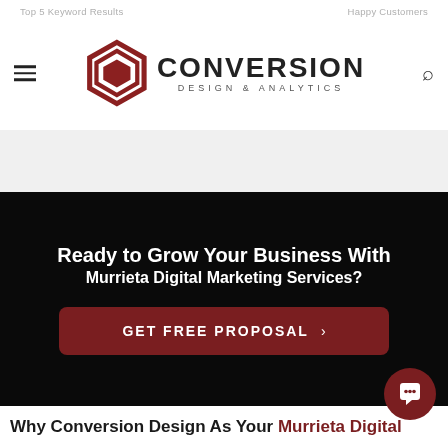Top 5 Keyword Results    Happy Customers
[Figure (logo): Conversion Design & Analytics logo with hexagon geometric icon in dark red/maroon and black text]
Ready to Grow Your Business With Murrieta Digital Marketing Services?
GET FREE PROPOSAL >
Why Conversion Design As Your Murrieta Digital